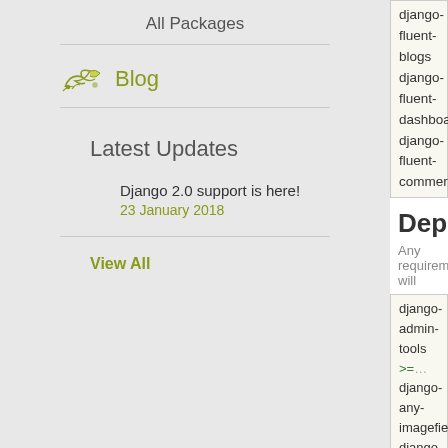All Packages
Blog
Latest Updates
Django 2.0 support is here!
23 January 2018
View All
django-fluent-blogs
django-fluent-dashboard
django-fluent-comments
Dependencies
Any requirements will
django-admin-tools >=
django-any-imagefield
django-any-urlfield >=
django-fluent-utils >=
django-polymorphic >
django-parler >= 1.4
django-polymorphic-tr
django-tag-parser >=
django-taggit >= 0.13
django-taggit-autosugg
django-template-analy
django-threadedcomm
django-tinymce >= 1.5
django-wysiwyg >= 0.